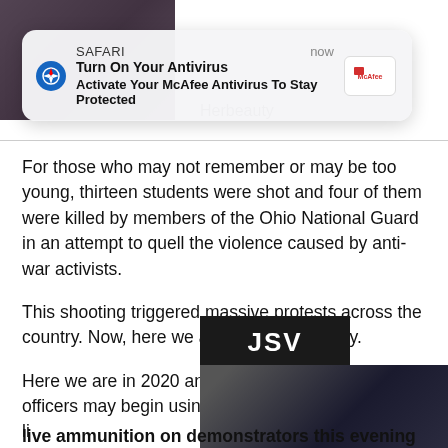[Figure (screenshot): Top image strip showing partial photo of people, partially obscured by Safari notification banner]
[Figure (screenshot): Safari iOS notification banner: 'Turn On Your Antivirus - Activate Your McAfee Antivirus To Stay Protected' with McAfee logo, timestamped 'now']
Herbeauty
For those who may not remember or may be too young, thirteen students were shot and four of them were killed by members of the Ohio National Guard in an attempt to quell the violence caused by anti-war activists.
This shooting triggered massive protests across the country. Now, here we are again essentially.
Here we are in 2020 and M... officers may begin using li...
He tweeted:
This afternoon I was m... community that federa...
live ammunition on demonstrators this evening